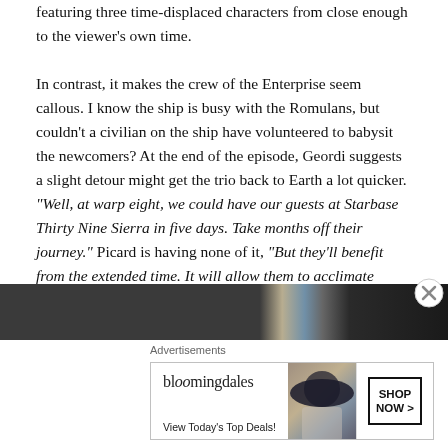featuring three time-displaced characters from close enough to the viewer's own time.
In contrast, it makes the crew of the Enterprise seem callous. I know the ship is busy with the Romulans, but couldn't a civilian on the ship have volunteered to babysit the newcomers? At the end of the episode, Geordi suggests a slight detour might get the trio back to Earth a lot quicker. “Well, at warp eight, we could have our guests at Starbase Thirty Nine Sierra in five days. Take months off their journey.” Picard is having none of it, “But they’ll benefit from the extended time. It will allow them to acclimate before returning to Earth.”
[Figure (photo): Partial image strip at bottom of article, appears to show a person with hat against a blurred background]
Advertisements
[Figure (screenshot): Bloomingdale's advertisement banner: 'bloomingdales / View Today’s Top Deals!' with SHOP NOW > button and image of woman in hat]